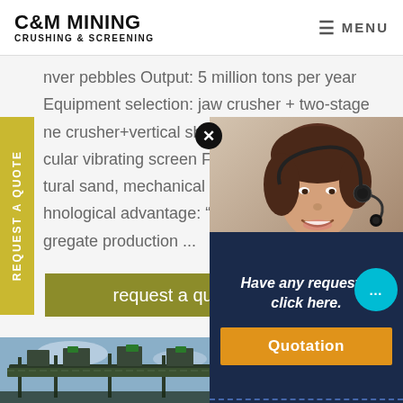C&M MINING CRUSHING & SCREENING | MENU
nver pebbles Output: 5 million tons per year Equipment selection: jaw crusher + two-stage ne crusher+vertical shaft crusher + three-stage cular vibrating screen F^tfkhed products: tural sand, mechanical sand, ar hnological advantage: "three .. gregate production ...
REQUEST A QUOTE
request a quote
[Figure (photo): Industrial conveyor/screening equipment against sky background]
[Figure (photo): Customer service representative woman with headset smiling]
Have any requests, click here.
Quotation